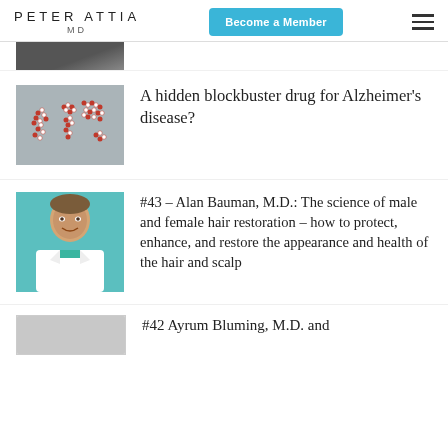PETER ATTIA MD
[Figure (photo): Partial view of a dark image cropped at top]
[Figure (photo): World map made of red and white pills/capsules on gray background]
A hidden blockbuster drug for Alzheimer’s disease?
[Figure (photo): Portrait of Alan Bauman, M.D., smiling, wearing white coat with teal trim, teal background]
#43 – Alan Bauman, M.D.: The science of male and female hair restoration – how to protect, enhance, and restore the appearance and health of the hair and scalp
[Figure (photo): Partial thumbnail image at bottom, partially cropped]
#42 Ayrum Bluming, M.D. and